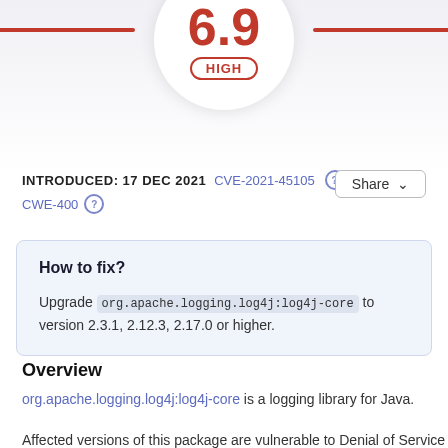[Figure (other): Circular score gauge showing 6.9 HIGH severity rating with orange/red color and decorative orange horizontal bars]
INTRODUCED: 17 DEC 2021   CVE-2021-45105   CWE-400
How to fix?
Upgrade org.apache.logging.log4j:log4j-core to version 2.3.1, 2.12.3, 2.17.0 or higher.
Overview
org.apache.logging.log4j:log4j-core is a logging library for Java.
Affected versions of this package are vulnerable to Denial of Service